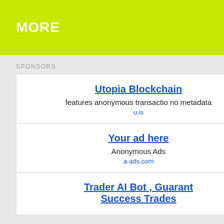MORE
SPONSORS
Utopia Blockchain
features anonymous transactio no metadata
u.is
Your ad here
Anonymous Ads
a-ads.com
Trader AI Bot , Guarant
Success Trades